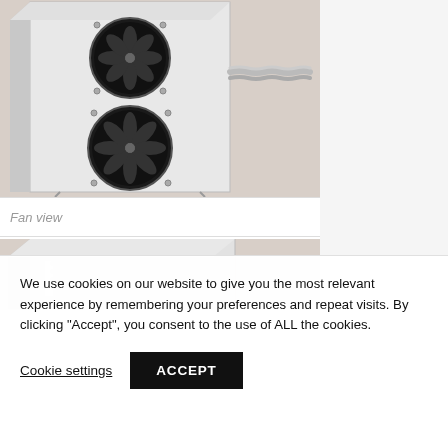[Figure (photo): 3D render of an industrial cooling unit showing fan view — a rectangular metallic enclosure with two circular fans on the front face and a coiled flexible conduit extending to the right]
Fan view
[Figure (photo): 3D render of the bottom portion of an industrial cooling or power unit, showing a rectangular metallic enclosure from a slightly different angle]
We use cookies on our website to give you the most relevant experience by remembering your preferences and repeat visits. By clicking “Accept”, you consent to the use of ALL the cookies.